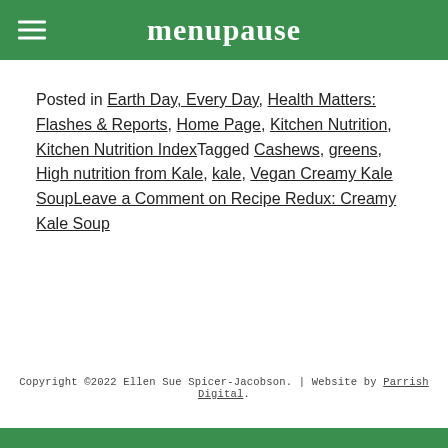menupause
Posted in Earth Day, Every Day, Health Matters: Flashes & Reports, Home Page, Kitchen Nutrition, Kitchen Nutrition IndexTagged Cashews, greens, High nutrition from Kale, kale, Vegan Creamy Kale SoupLeave a Comment on Recipe Redux: Creamy Kale Soup
Copyright ©2022 Ellen Sue Spicer-Jacobson. | Website by Parrish Digital.